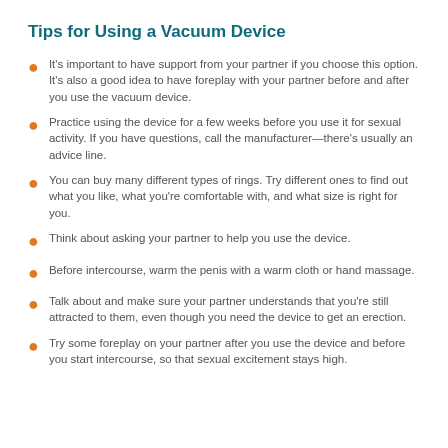Tips for Using a Vacuum Device
It's important to have support from your partner if you choose this option. It's also a good idea to have foreplay with your partner before and after you use the vacuum device.
Practice using the device for a few weeks before you use it for sexual activity. If you have questions, call the manufacturer—there's usually an advice line.
You can buy many different types of rings. Try different ones to find out what you like, what you're comfortable with, and what size is right for you.
Think about asking your partner to help you use the device.
Before intercourse, warm the penis with a warm cloth or hand massage.
Talk about and make sure your partner understands that you're still attracted to them, even though you need the device to get an erection.
Try some foreplay on your partner after you use the device and before you start intercourse, so that sexual excitement stays high.